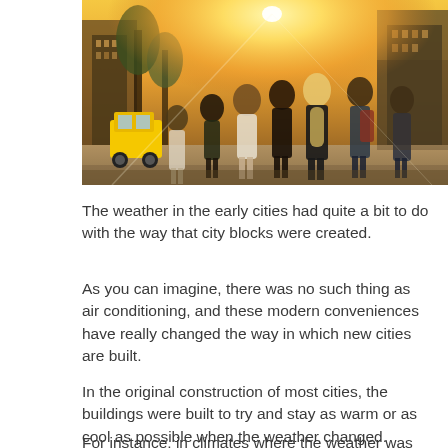[Figure (photo): People walking on a busy city sidewalk bathed in golden sunlight, with urban buildings and a yellow taxi visible in the background.]
The weather in the early cities had quite a bit to do with the way that city blocks were created.
As you can imagine, there was no such thing as air conditioning, and these modern conveniences have really changed the way in which new cities are built.
In the original construction of most cities, the buildings were built to try and stay as warm or as cool as possible when the weather changed.
For instance, in climates where the weather was